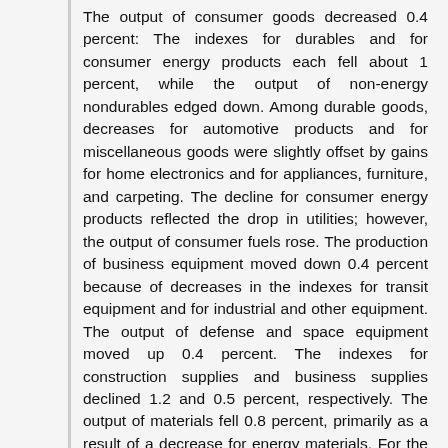The output of consumer goods decreased 0.4 percent: The indexes for durables and for consumer energy products each fell about 1 percent, while the output of non-energy nondurables edged down. Among durable goods, decreases for automotive products and for miscellaneous goods were slightly offset by gains for home electronics and for appliances, furniture, and carpeting. The decline for consumer energy products reflected the drop in utilities; however, the output of consumer fuels rose. The production of business equipment moved down 0.4 percent because of decreases in the indexes for transit equipment and for industrial and other equipment. The output of defense and space equipment moved up 0.4 percent. The indexes for construction supplies and business supplies declined 1.2 and 0.5 percent, respectively. The output of materials fell 0.8 percent, primarily as a result of a decrease for energy materials. For the first quarter, the output of consumer goods rose despite a drop in consumer energy products, but the indexes for most other major market groups decreased.